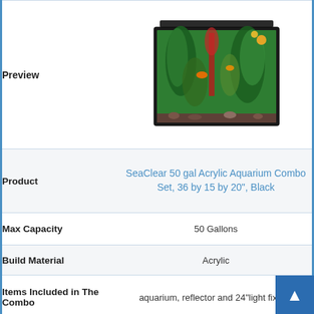|  |  |
| --- | --- |
| Preview | [aquarium image] |
| Product | SeaClear 50 gal Acrylic Aquarium Combo Set, 36 by 15 by 20", Black |
| Max Capacity | 50 Gallons |
| Build Material | Acrylic |
| Items Included in The Combo | aquarium, reflector and 24"light fixture |
| Average Rating | ★★★★☆ |